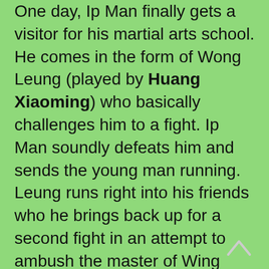One day, Ip Man finally gets a visitor for his martial arts school. He comes in the form of Wong Leung (played by Huang Xiaoming) who basically challenges him to a fight. Ip Man soundly defeats him and sends the young man running. Leung runs right into his friends who he brings back up for a second fight in an attempt to ambush the master of Wing Chun. They are again defeated and the group swears allegiance to Ip Man and become his first students to practice in the martial art.